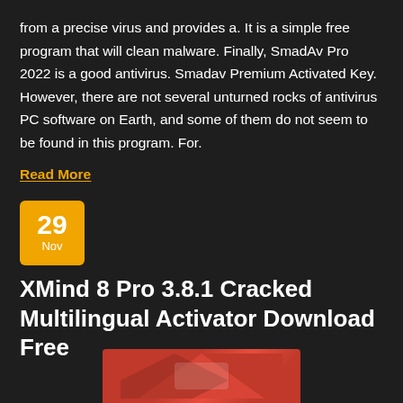from a precise virus and provides a. It is a simple free program that will clean malware. Finally, SmadAv Pro 2022 is a good antivirus. Smadav Premium Activated Key. However, there are not several unturned rocks of antivirus PC software on Earth, and some of them do not seem to be found in this program. For.
Read More
29 Nov
XMind 8 Pro 3.8.1 Cracked Multilingual Activator Download Free
[Figure (photo): Partial image of XMind software, showing red and white graphic at the bottom of the page]